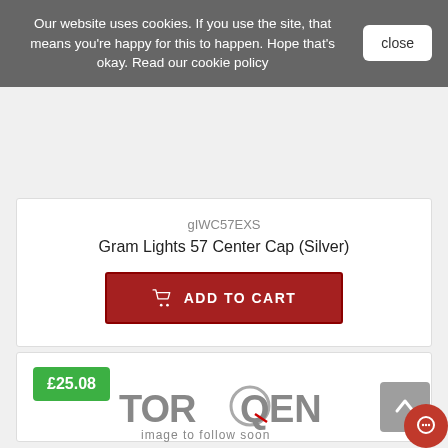Our website uses cookies. If you use the site, that means you're happy for this to happen. Hope that's okay. Read our cookie policy
close
gIWC57EXS
Gram Lights 57 Center Cap (Silver)
ADD TO CART
£25.08
[Figure (logo): Torqen logo with 'image to follow soon' text beneath it]